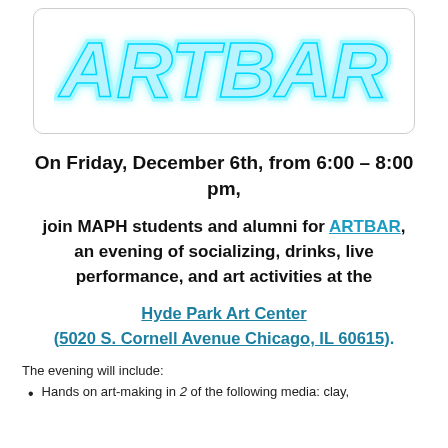[Figure (logo): ARTBAR neon-style logo text in cyan/light blue on white background inside a rounded rectangle border]
On Friday, December 6th, from 6:00 – 8:00 pm,
join MAPH students and alumni for ARTBAR, an evening of socializing, drinks, live performance, and art activities at the
Hyde Park Art Center (5020 S. Cornell Avenue Chicago, IL 60615).
The evening will include:
Hands on art-making in 2 of the following media: clay,